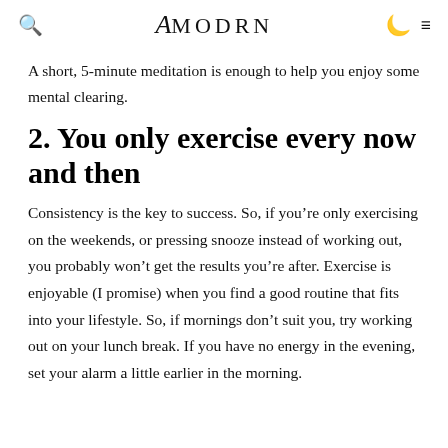a MODRN
A short, 5-minute meditation is enough to help you enjoy some mental clearing.
2. You only exercise every now and then
Consistency is the key to success. So, if you're only exercising on the weekends, or pressing snooze instead of working out, you probably won't get the results you're after. Exercise is enjoyable (I promise) when you find a good routine that fits into your lifestyle. So, if mornings don't suit you, try working out on your lunch break. If you have no energy in the evening, set your alarm a little earlier in the morning.